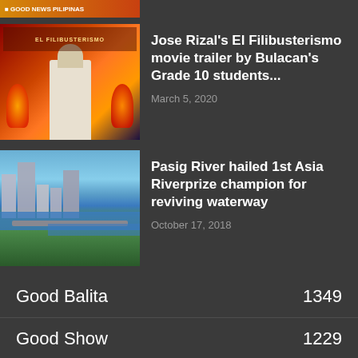[Figure (screenshot): Orange/red banner strip at top left corner of page]
[Figure (photo): Thumbnail of a movie scene with a man in white shirt and fire/flames in background, El Filibusterismo movie trailer]
Jose Rizal's El Filibusterismo movie trailer by Bulacan's Grade 10 students...
March 5, 2020
[Figure (photo): Aerial photo of Pasig River with city buildings, bridges, and greenery along the waterway]
Pasig River hailed 1st Asia Riverprize champion for reviving waterway
October 17, 2018
Good Balita 1349
Good Show 1229
Good Pinoys 831
Good Sport 796
Good Travel 564
Good Advice 560